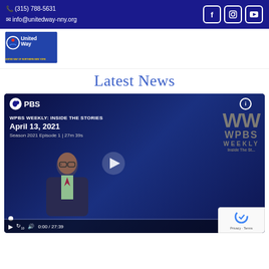(315) 788-5631  info@unitedway-nny.org
[Figure (logo): United Way of Northern New York logo]
Latest News
[Figure (screenshot): WPBS Weekly: Inside The Stories, April 13, 2021, Season 2021 Episode 1 | 27m 39s, video player with progress bar showing 0:00 / 27:39]